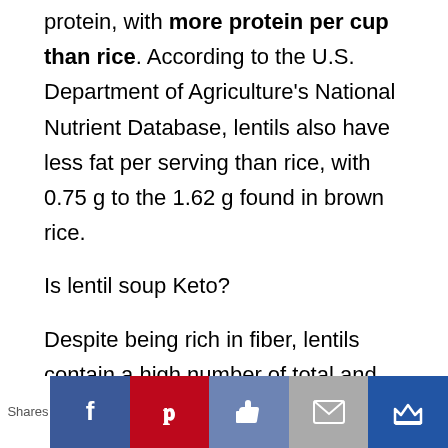protein, with more protein per cup than rice. According to the U.S. Department of Agriculture's National Nutrient Database, lentils also have less fat per serving than rice, with 0.75 g to the 1.62 g found in brown rice.
Is lentil soup Keto?
Despite being rich in fiber, lentils contain a high number of total and net carbs, making them difficult to fit into a keto diet. While those following a strict keto diet should avoid
[Figure (infographic): Social share bar with Facebook, Pinterest, Like, Email, and crown/bookmark buttons. Shows 'Shares' label on the left.]